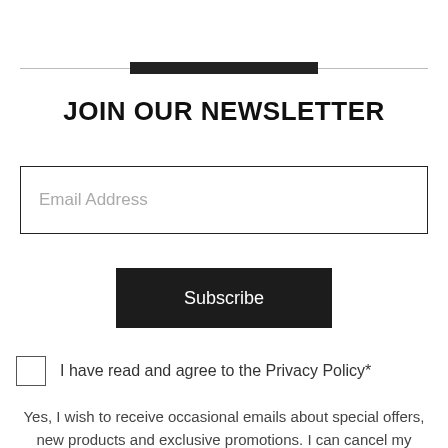[Figure (other): Horizontal decorative divider with thick dark center bar and thin lines on each side]
JOIN OUR NEWSLETTER
Email Address
Subscribe
I have read and agree to the Privacy Policy*
Yes, I wish to receive occasional emails about special offers, new products and exclusive promotions. I can cancel my